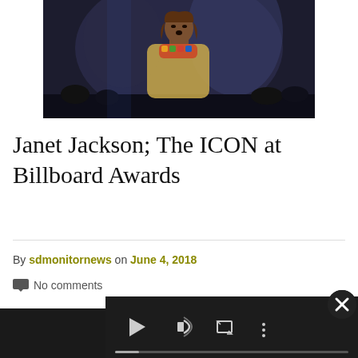[Figure (photo): A performer (Janet Jackson) on stage wearing a gold/beige sweater and colorful necklace, with dark/blue-lit background and audience visible]
Janet Jackson; The ICON at Billboard Awards
By sdmonitornews on June 4, 2018
No comments
[Figure (screenshot): A video player overlay with dark background and playback controls (play, volume, fullscreen, more options) and a progress bar]